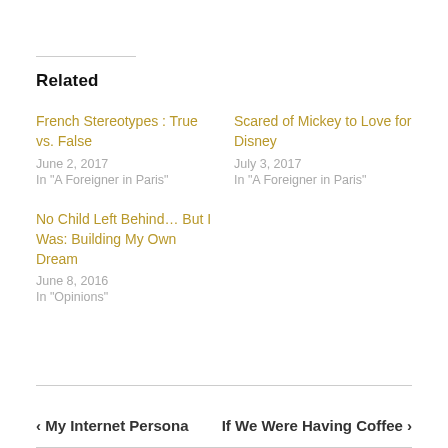Related
French Stereotypes : True vs. False
June 2, 2017
In "A Foreigner in Paris"
Scared of Mickey to Love for Disney
July 3, 2017
In "A Foreigner in Paris"
No Child Left Behind… But I Was: Building My Own Dream
June 8, 2016
In "Opinions"
‹ My Internet Persona     If We Were Having Coffee ›